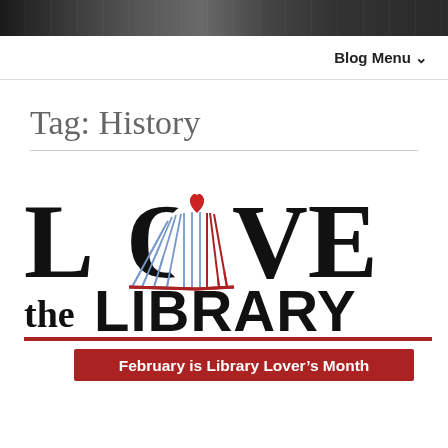[Figure (photo): Dark header photo of a building/cityscape silhouette]
Blog Menu ▾
Tag: History
[Figure (logo): Love the Library logo — large text LOVE the LIBRARY with open book forming the O with red heart, red and blue lines, and red banner reading February is Library Lover's Month]